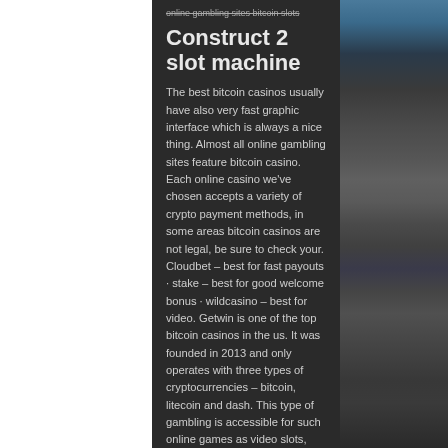online gambling sites bitcoin slots
Construct 2 slot machine
The best bitcoin casinos usually have also very fast graphic interface which is always a nice thing. Almost all online gambling sites feature bitcoin casino. Each online casino we've chosen accepts a variety of crypto payment methods, in some areas bitcoin casinos are not legal, be sure to check your. Cloudbet – best for fast payouts · stake – best for good welcome bonus · wildcasino – best for video. Getwin is one of the top bitcoin casinos in the us. It was founded in 2013 and only operates with three types of cryptocurrencies – bitcoin, litecoin and dash. This type of gambling is accessible for such online games as video slots, dice games, roulette, blackjack, video poker, scratch games, and. No live casino games in some countries. Bitstarz is a must for any rundown of the best online crypto casinos. This bitcoin gambling site also has the original slots
[Figure (photo): Photo of slot machine or gaming equipment in dark tones on the right side of the page]